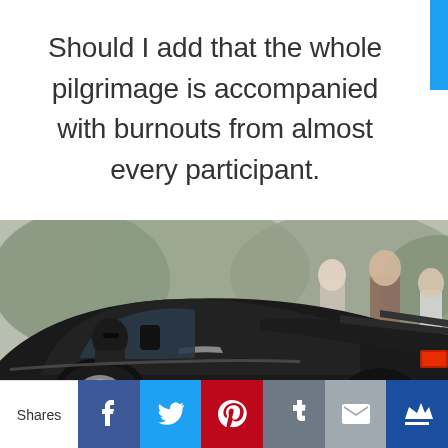Should I add that the whole pilgrimage is accompanied with burnouts from almost every participant.
[Figure (photo): A dark muscle car (black/dark gray classic American car) doing a burnout or driving past spectators who are watching and photographing from the side of the road. The car interior shows a driver wearing sunglasses. Background shows blurred crowd and trees.]
Shares | Facebook | Twitter | Pinterest | Tumblr | Email | Crown/Share